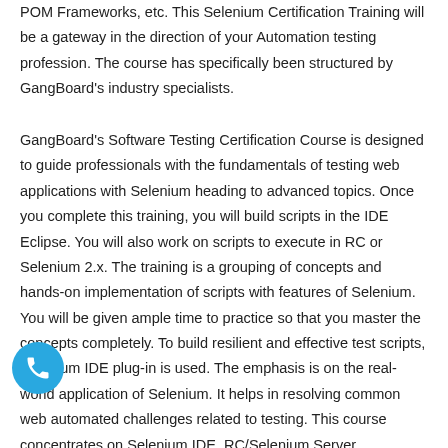POM Frameworks, etc. This Selenium Certification Training will be a gateway in the direction of your Automation testing profession. The course has specifically been structured by GangBoard's industry specialists.
GangBoard's Software Testing Certification Course is designed to guide professionals with the fundamentals of testing web applications with Selenium heading to advanced topics. Once you complete this training, you will build scripts in the IDE Eclipse. You will also work on scripts to execute in RC or Selenium 2.x. The training is a grouping of concepts and hands-on implementation of scripts with features of Selenium. You will be given ample time to practice so that you master the concepts completely. To build resilient and effective test scripts, Selenium IDE plug-in is used. The emphasis is on the real-world application of Selenium. It helps in resolving common web automated challenges related to testing. This course concentrates on Selenium IDE, RC/Selenium Server, functional, regression, and data-driven, JUnit, and TestNG...
[Figure (other): Blue circular phone/call button icon in bottom-left corner]